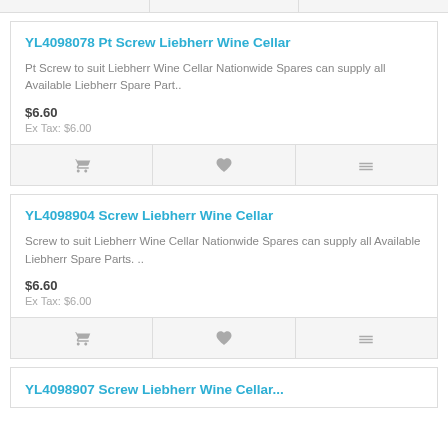YL4098078 Pt Screw Liebherr Wine Cellar
Pt Screw to suit Liebherr Wine Cellar Nationwide Spares can supply all Available Liebherr Spare Part..
$6.60
Ex Tax: $6.00
YL4098904 Screw Liebherr Wine Cellar
Screw to suit Liebherr Wine Cellar Nationwide Spares can supply all Available Liebherr Spare Parts. ..
$6.60
Ex Tax: $6.00
YL4098907 ...